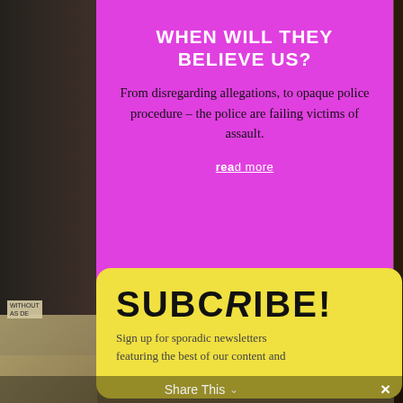[Figure (screenshot): Background showing a collage: dark photo on left, comic strip panels at bottom, and books on dark background at right]
WHEN WILL THEY BELIEVE US?
From disregarding allegations, to opaque police procedure – the police are failing victims of assault.
read more
SUBCRIBE!
Sign up for sporadic newsletters featuring the best of our content and
Share This